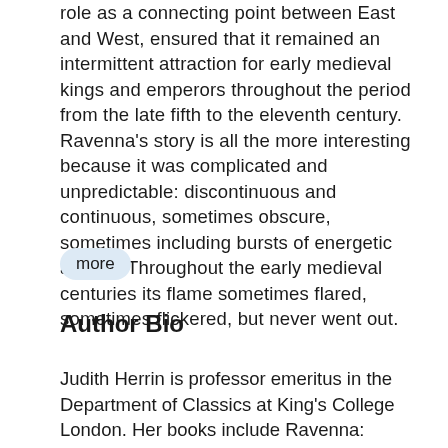role as a connecting point between East and West, ensured that it remained an intermittent attraction for early medieval kings and emperors throughout the period from the late fifth to the eleventh century. Ravenna's story is all the more interesting because it was complicated and unpredictable: discontinuous and continuous, sometimes obscure, sometimes including bursts of energetic activity. Throughout the early medieval centuries its flame sometimes flared, sometimes flickered, but never went out.
more
Author Bio
Judith Herrin is professor emeritus in the Department of Classics at King's College London. Her books include Ravenna: Capital of Empire, Crucible of Europe; Byzantium: The Surprising Life of a Medieval Empire; Margins and Metropolis: Authority across the Byzantine Empire; and